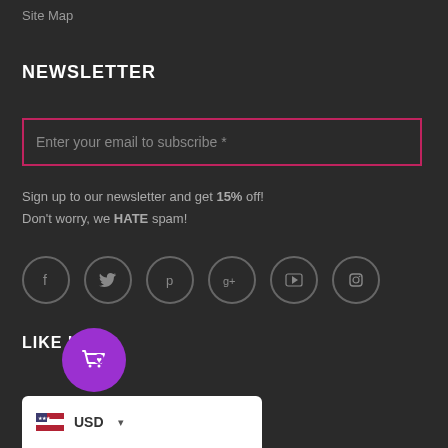Site Map
NEWSLETTER
Enter your email to subscribe *
Sign up to our newsletter and get 15% off!
Don't worry, we HATE spam!
[Figure (infographic): Six social media icon circles: Facebook (f), Twitter bird, Pinterest (p), Google+ (g+), YouTube, Instagram]
LIKE US
[Figure (infographic): Purple circular shopping cart with heart icon button]
USD